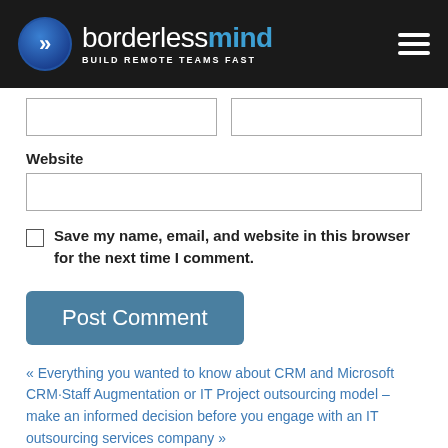[Figure (logo): Borderless Mind logo with tagline BUILD REMOTE TEAMS FAST on dark background with hamburger menu icon]
[Figure (screenshot): Two side-by-side input fields (Name and Email partially visible at top)]
Website
[Figure (screenshot): Website input field, full width]
Save my name, email, and website in this browser for the next time I comment.
[Figure (screenshot): Post Comment button]
« Everything you wanted to know about CRM and Microsoft CRM·Staff Augmentation or IT Project outsourcing model – make an informed decision before you engage with an IT outsourcing services company »